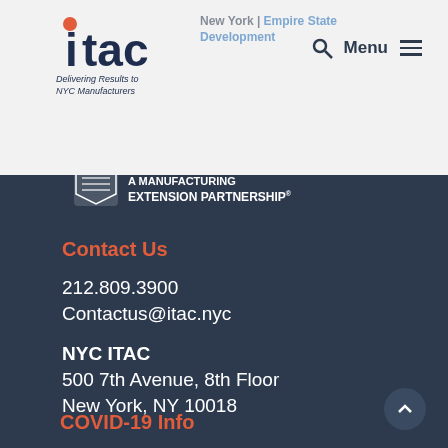[Figure (logo): ITAC logo with red dot on i, tagline 'Delivering Results to NYC Manufacturers']
New York | Empire State Development
[Figure (logo): MEP Manufacturing Extension Partnership badge with icon]
EXTENSION PARTNERSHIP®
Contact Us
212.809.3900
Contactus@itac.nyc
NYC ITAC
500 7th Avenue, 8th Floor
New York, NY 10018
COVID-19 Info